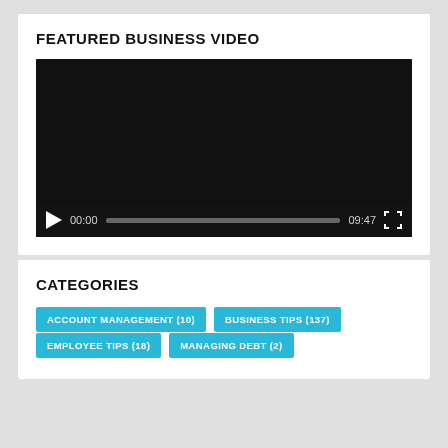FEATURED BUSINESS VIDEO
[Figure (screenshot): Embedded video player with black screen, playback controls showing 00:00 current time and 09:47 total duration, progress bar, play button, and fullscreen icon]
CATEGORIES
ACCOUNT MANAGEMENT (10)
BUSINESS TIPS (137)
EMPLOYEE TIPS (18)
MANAGING DEBT (2)